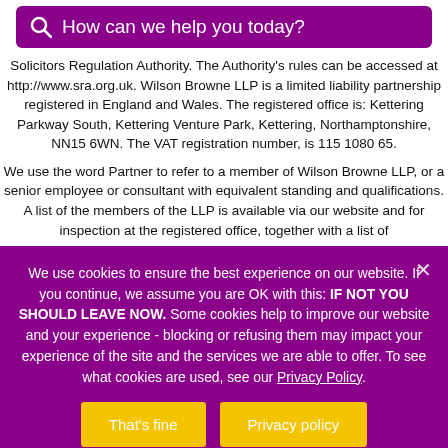[Figure (screenshot): Purple search bar with magnifying glass icon and placeholder text 'How can we help you today?']
Solicitors Regulation Authority. The Authority's rules can be accessed at http://www.sra.org.uk. Wilson Browne LLP is a limited liability partnership registered in England and Wales. The registered office is: Kettering Parkway South, Kettering Venture Park, Kettering, Northamptonshire, NN15 6WN. The VAT registration number, is 115 1080 65.
We use the word Partner to refer to a member of Wilson Browne LLP, or a senior employee or consultant with equivalent standing and qualifications. A list of the members of the LLP is available via our website and for inspection at the registered office, together with a list of
We use cookies to ensure the best experience on our website. If you continue, we assume you are OK with this: IF NOT YOU SHOULD LEAVE NOW. Some cookies help to improve our website and your experience - blocking or refusing them may impact your experience of the site and the services we are able to offer. To see what cookies are used, see our Privacy Policy.
That's fine
Privacy policy